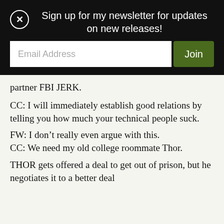Sign up for my newsletter for updates on new releases!
partner FBI JERK.
CC: I will immediately establish good relations by telling you how much your technical people suck.
FW: I don’t really even argue with this.
CC: We need my old college roommate Thor.
THOR gets offered a deal to get out of prison, but he negotiates it to a better deal